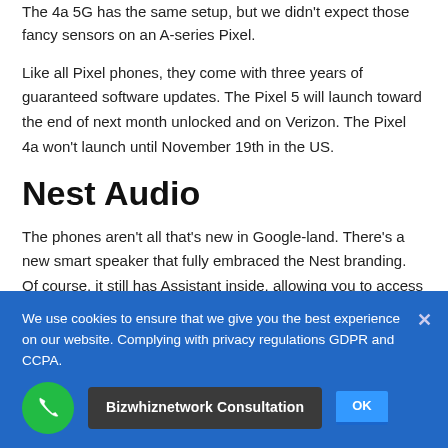The 4a 5G has the same setup, but we didn't expect those fancy sensors on an A-series Pixel.
Like all Pixel phones, they come with three years of guaranteed software updates. The Pixel 5 will launch toward the end of next month unlocked and on Verizon. The Pixel 4a won't launch until November 19th in the US.
Nest Audio
The phones aren't all that's new in Google-land. There's a new smart speaker that fully embraced the Nest branding. Of course, it still has Assistant inside, allowing you to access account data like your calendar and control smart home devices by voice. It also has enhanced on-device AI like the Nest Mini, which should make Assistant about twice as fast to respond compared with the original
We use cookies to ensure that we give you the best experience on our website. Complying with privacy regulations GDPR and CCPA.
Bizwhiznetwork Consultation